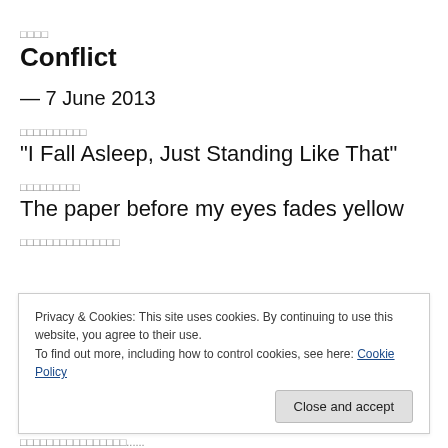□□□□
Conflict
— 7 June 2013
□□□□□□□□□□
“I Fall Asleep, Just Standing Like That”
□□□□□□□□□
The paper before my eyes fades yellow
□□□□□□□□□□□□□□□
Privacy & Cookies: This site uses cookies. By continuing to use this website, you agree to their use.
To find out more, including how to control cookies, see here: Cookie Policy
Close and accept
□□□□□□□□□□□□□□□□......